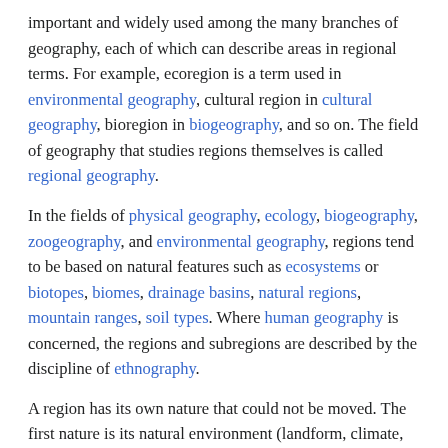important and widely used among the many branches of geography, each of which can describe areas in regional terms. For example, ecoregion is a term used in environmental geography, cultural region in cultural geography, bioregion in biogeography, and so on. The field of geography that studies regions themselves is called regional geography.
In the fields of physical geography, ecology, biogeography, zoogeography, and environmental geography, regions tend to be based on natural features such as ecosystems or biotopes, biomes, drainage basins, natural regions, mountain ranges, soil types. Where human geography is concerned, the regions and subregions are described by the discipline of ethnography.
A region has its own nature that could not be moved. The first nature is its natural environment (landform, climate, etc.). The second nature is its physical elements complex that were built by people in the past. The third nature is its socio-cultural context that could not be replaced by new immigrants.
Globalization